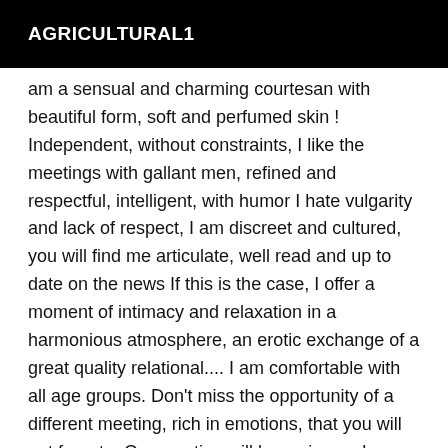AGRICULTURAL1
am a sensual and charming courtesan with beautiful form, soft and perfumed skin ! Independent, without constraints, I like the meetings with gallant men, refined and respectful, intelligent, with humor I hate vulgarity and lack of respect, I am discreet and cultured, you will find me articulate, well read and up to date on the news If this is the case, I offer a moment of intimacy and relaxation in a harmonious atmosphere, an erotic exchange of a great quality relational.... I am comfortable with all age groups. Don't miss the opportunity of a different meeting, rich in emotions, that you will not forget... Our meeting will be a nice and exciting experience for both of us. From the first minutes of our meeting, you will know deep down inside that you made the right choice... Gentlemen, your anonymity and my discretion will be my watchwords. Let yourself be seduced by my charm and natural sweetness. With the pleasures to crunch you .... ;) *** Any meeting will be